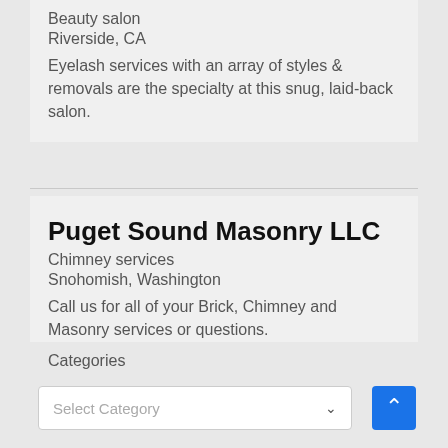Beauty salon
Riverside, CA
Eyelash services with an array of styles & removals are the specialty at this snug, laid-back salon.
Puget Sound Masonry LLC
Chimney services
Snohomish, Washington
Call us for all of your Brick, Chimney and Masonry services or questions.
Categories
Select Category